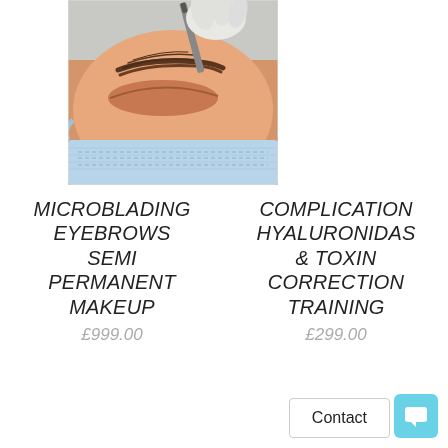[Figure (photo): Close-up photo of a microblading procedure being performed on a person's eyebrow. A gloved hand holds a microblading pen tool over the eyebrow area. The patient wears a surgical/medical mask. Warm skin tones with brown eyebrow hair visible.]
MICROBLADING EYEBROWS SEMI PERMANENT MAKEUP
£999.00
COMPLICATIONS HYALURONIDASE & TOXIN CORRECTION TRAINING
£299.00